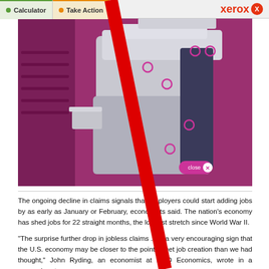Calculator | Take Action | Xerox
[Figure (screenshot): Xerox printer product image on purple/magenta background with interactive hotspot dots and a close button]
The ongoing decline in claims signals that employers could start adding jobs by as early as January or February, economists said. The nation's economy has shed jobs for 22 straight months, the longest stretch since World War II.
"The surprise further drop in jobless claims ... is a very encouraging sign that the U.S. economy may be closer to the point of net job creation than we had thought," John Ryding, an economist at RDQ Economics, wrote in a research note.
Many economists say that claims need to fall to about 425,000 for at least a month to indicate that employers are hiring more people than they are firing.
The department's employment report for November, to be released